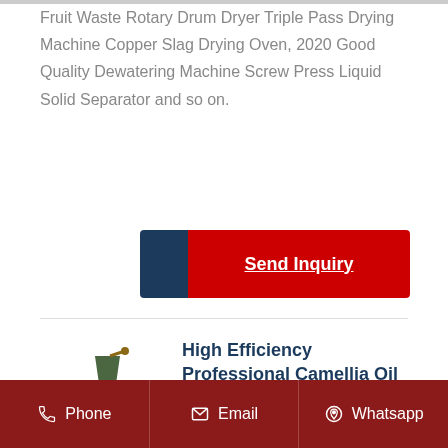Fruit Waste Rotary Drum Dryer Triple Pass Drying Machine Copper Slag Drying Oven, 2020 Good Quality Dewatering Machine Screw Press Liquid Solid Separator and so on.
[Figure (other): Send Inquiry button with dark blue left portion and red right portion with underlined white bold text 'Send Inquiry']
[Figure (photo): Green industrial oil press / screw press machine with hopper on top and wheels on the side]
High Efficiency Professional Camellia Oil Refining
OilRefinery Plant, Vegetable Oil Refinery, Oil Refinery
Phone  Email  Whatsapp